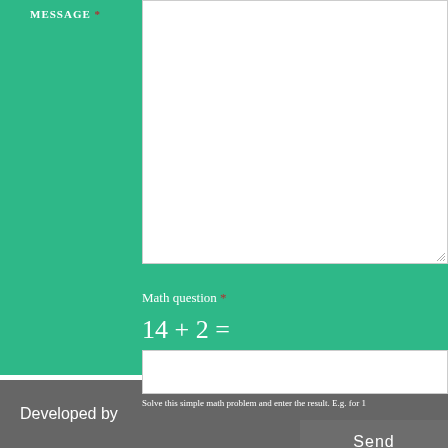MESSAGE *
Math question *
Solve this simple math problem and enter the result. E.g. for 1+3, enter 4.
Send
Developed by